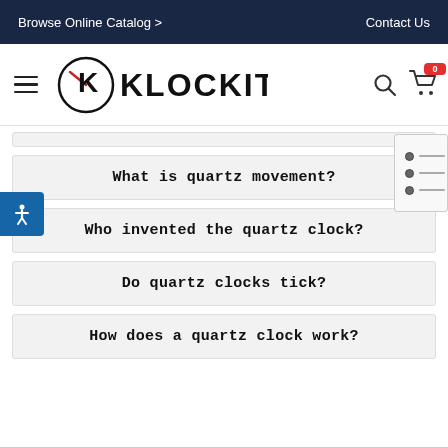Browse Online Catalog >    Contact Us
[Figure (logo): Klockit logo with stylized K in circle and clock hand accent]
What is quartz movement?
Who invented the quartz clock?
Do quartz clocks tick?
How does a quartz clock work?